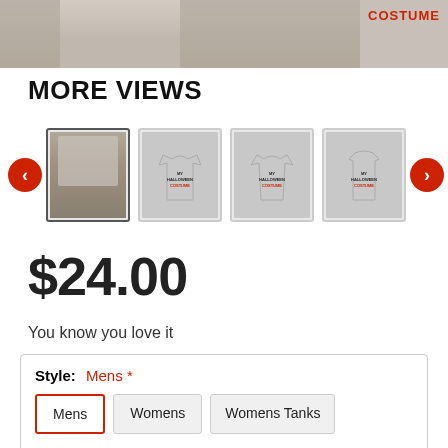[Figure (photo): Top strip showing a man wearing a Halloween costume t-shirt and a side image with 'COSTUME' text in red]
MORE VIEWS
[Figure (photo): Thumbnail carousel with left/right arrows and 4 product thumbnails: man wearing shirt, men's t-shirt, women's t-shirt, women's tank top]
$24.00
You know you love it
Style: Mens *
Mens
Womens
Womens Tanks
Color: Heather *